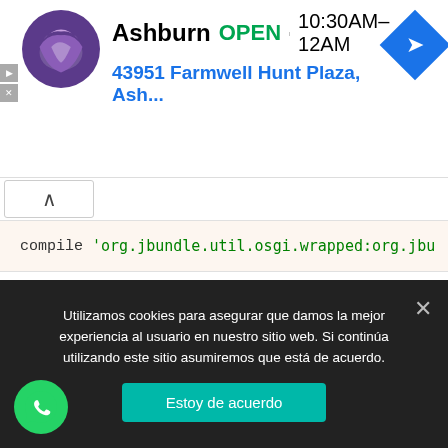[Figure (screenshot): Advertisement banner for Taco Bell Ashburn location showing logo, OPEN status, hours 10:30AM-12AM, address 43951 Farmwell Hunt Plaza, Ash..., and navigation icon]
compile 'org.jbundle.util.osgi.wrapped:org.jbu
Ahora debemos ir a nuestro MainActivity y agregar lo siguiente:
MainActivity
1.	package com.androidmorefast.pc.appguarda
2.
3.	import android.Manifest;
Utilizamos cookies para asegurar que damos la mejor experiencia al usuario en nuestro sitio web. Si continúa utilizando este sitio asumiremos que está de acuerdo.
Estoy de acuerdo